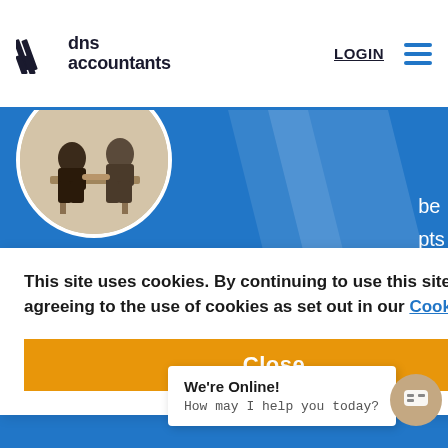dns accountants | LOGIN
[Figure (photo): Circular cropped photo of two business people sitting across from each other at a table, shaking hands or meeting, against a blue hero banner background]
Reduce your admin
be pts net
This site uses cookies. By continuing to use this site, you are agreeing to the use of cookies as set out in our Cookies Policy
Close
We're Online! How may I help you today?